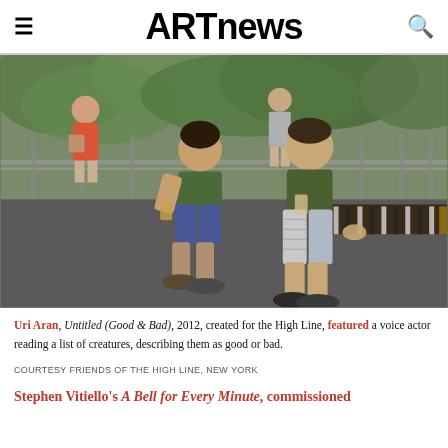ARTnews
[Figure (photo): Two men sitting on a bench on the High Line park in New York, wearing green t-shirts and shorts, leaning toward each other in conversation. Green foliage and metal railing in background, other visitors visible.]
Uri Aran, Untitled (Good & Bad), 2012, created for the High Line, featured a voice actor reading a list of creatures, describing them as good or bad.
COURTESY FRIENDS OF THE HIGH LINE, NEW YORK
Stephen Vitiello's A Bell for Every Minute, commissioned...